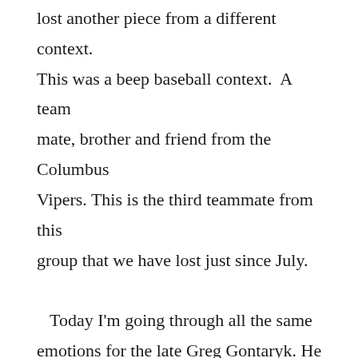lost another piece from a different context. This was a beep baseball context. A team mate, brother and friend from the Columbus Vipers. This is the third teammate from this group that we have lost just since July.

   Today I'm going through all the same emotions for the late Greg Gontaryk. He died of cancer Wednesday. I just found out a bit ago and my fried brain has not found that place to land. When it does I hope to say more about him. A glove story here to be told.